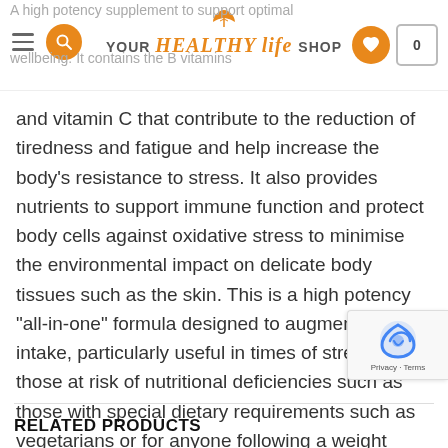YOUR HEALTHY LIFE SHOP
A high potency supplement to support optimal wellbeing. It contains the B vitamins and vitamin C that contribute to the reduction of tiredness and fatigue and help increase the body's resistance to stress. It also provides nutrients to support immune function and protect body cells against oxidative stress to minimise the environmental impact on delicate body tissues such as the skin. This is a high potency “all-in-one” formula designed to augment dietary intake, particularly useful in times of stress, or for those at risk of nutritional deficiencies such as those with special dietary requirements such as vegetarians or for anyone following a weight management where calorie intake is restricted.
RELATED PRODUCTS